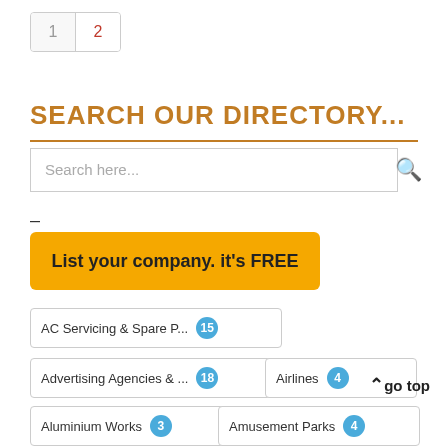1  2 (pagination)
SEARCH OUR DIRECTORY...
Search here...
–
List your company. it's FREE
AC Servicing & Spare P... 15
Advertising Agencies & ... 18
Airlines 4
Aluminium Works 3
Amusement Parks 4
∧ go top